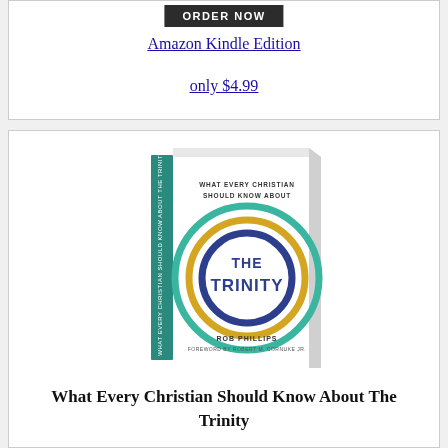[Figure (other): Black ORDER NOW button at top of page]
Amazon Kindle Edition
only $4.99
[Figure (photo): Book cover photo: 'What Every Christian Should Know About The Trinity' by Rob Phillips, Foreword by Robert M. Cornuke Jr. White cover with teal, gold, and dark blue interlocking circles design.]
What Every Christian Should Know About The Trinity